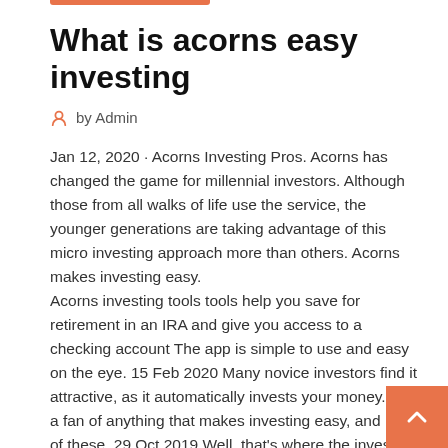What is acorns easy investing
by Admin
Jan 12, 2020 · Acorns Investing Pros. Acorns has changed the game for millennial investors. Although those from all walks of life use the service, the younger generations are taking advantage of this micro investing approach more than others. Acorns makes investing easy.
Acorns investing tools tools help you save for retirement in an IRA and give you access to a checking account The app is simple to use and easy on the eye. 15 Feb 2020 Many novice investors find it attractive, as it automatically invests your money. I'm a fan of anything that makes investing easy, and both of these  29 Oct 2019 Well, that's where the investing app Acorns comes in. How It Works. Basically, Acorns invests your money in the background of daily life. This  27 Mar 2020 To take advantage of Acorns, it uses a digital budgeting...